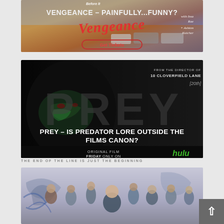[Figure (photo): Vengeance movie promotional banner with text 'VENGEANCE – PAINFULLY...FUNNY?' and 'Get Tickets' button, starring Issa Rae and Ashton Kutcher]
[Figure (photo): Prey movie promotional banner showing a woman with green face paint, text 'PREY – IS PREDATOR LORE OUTSIDE THE FILMS CANON?', Hulu original film Friday, from the director of 10 Cloverfield Lane]
[Figure (photo): Third movie promotional banner partially visible at bottom, with ensemble cast illustration and partial text 'THE END OF THE LINE IS JUST THE BEGINNING']